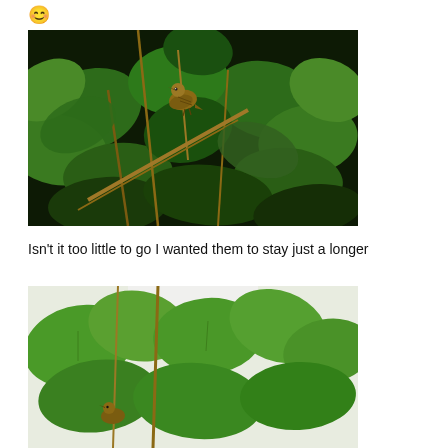[Figure (photo): A small brown bird perched on a branch among dense green leaves and vines, photographed at night or in dark conditions.]
Isn't it too little to go I wanted them to stay just a longer
[Figure (photo): Another photo of green leaves and branches, likely showing the same bird or plants, partially visible at the bottom of the page.]